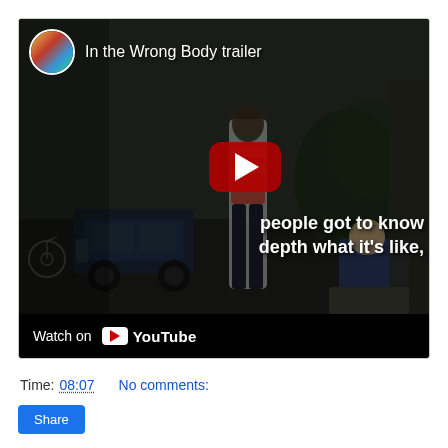[Figure (screenshot): YouTube video embed showing 'In the Wrong Body trailer'. The thumbnail shows a dark outdoor street scene with figures standing and sitting, with a car visible on the left. A red YouTube play button is centered on the image. Text subtitle reads 'people got to know in depth what it's like,'. A channel avatar circle is in the top-left corner. At the bottom is a black bar with 'Watch on YouTube' branding.]
Time: 08:07   No comments:
Share